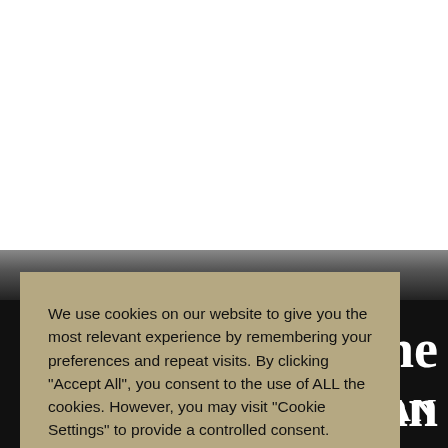[Figure (logo): Redmayne Smith Build Wealth logo — stylized RS monogram in gold/tan with company name in dark navy below]
[Figure (infographic): Cookie consent modal overlay on dark background showing partial Guardian and Scotsman newspaper logos]
We use cookies on our website to give you the most relevant experience by remembering your preferences and repeat visits. By clicking "Accept All", you consent to the use of ALL the cookies. However, you may visit "Cookie Settings" to provide a controlled consent.